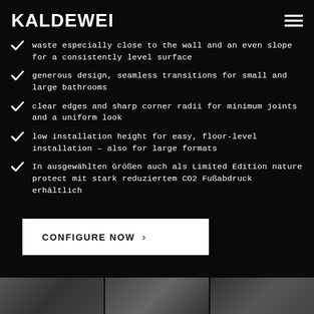KALDEWEI
waste especially close to the wall and an even slope for a consistently level surface
generous design, seamless transitions for small and large bathrooms
clear edges and sharp corner radii for minimum joints and a uniform look
low installation height for easy, floor-level installation – also for large formats
In ausgewählten Größen auch als Limited Edition nature protect mit stark reduziertem CO2 Fußabdruck erhältlich
CONFIGURE NOW >
[Figure (photo): Three partial product/bathroom photos at the bottom of the page]